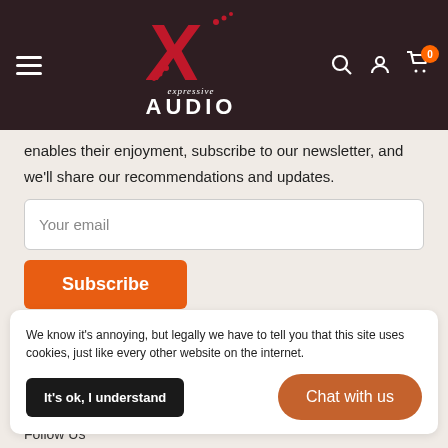[Figure (logo): Expressive Audio logo with large red X and text 'expressive AUDIO' on dark brown background with hamburger menu, search, user, and cart icons]
enables their enjoyment, subscribe to our newsletter, and we'll share our recommendations and updates.
Your email
Subscribe
We know it's annoying, but legally we have to tell you that this site uses cookies, just like every other website on the internet.
It's ok, I understand
Chat with us
Follow Us